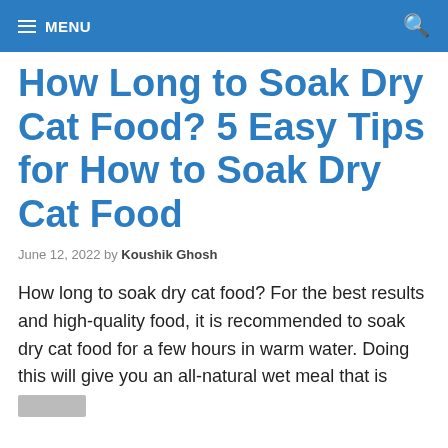MENU
How Long to Soak Dry Cat Food? 5 Easy Tips for How to Soak Dry Cat Food
June 12, 2022 by Koushik Ghosh
How long to soak dry cat food? For the best results and high-quality food, it is recommended to soak dry cat food for a few hours in warm water. Doing this will give you an all-natural wet meal that is [redacted]